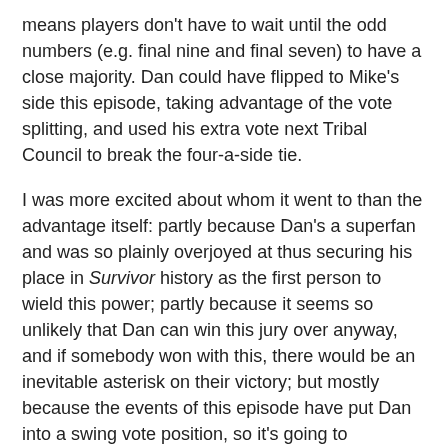means players don't have to wait until the odd numbers (e.g. final nine and final seven) to have a close majority. Dan could have flipped to Mike's side this episode, taking advantage of the vote splitting, and used his extra vote next Tribal Council to break the four-a-side tie.
I was more excited about whom it went to than the advantage itself: partly because Dan's a superfan and was so plainly overjoyed at thus securing his place in Survivor history as the first person to wield this power; partly because it seems so unlikely that Dan can win this jury over anyway, and if somebody won with this, there would be an inevitable asterisk on their victory; but mostly because the events of this episode have put Dan into a swing vote position, so it's going to somebody who will take that advantage into consideration for every vote. (I may change my mind on this point after the umpteenth pre-TC confessional of 'Should I or shouldn't I?' from Dan.)
So far, it's not increased the target on his back. Jenn comments that he's the person who can do the least with it